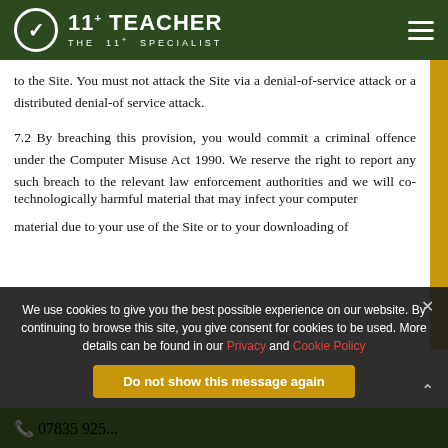11+ TEACHER - THE 11+ SPECIALIST
to the Site. You must not attack the Site via a denial-of-service attack or a distributed denial-of service attack.
7.2 By breaching this provision, you would commit a criminal offence under the Computer Misuse Act 1990. We reserve the right to report any such breach to the relevant law enforcement authorities and we will co-operate with those authorities by disclosing your identity to them. In the event of such a breach, your right to use the Site will cease immediately.
7.3 We will not be liable for any loss or damage caused by a distributed denial-of-service attack, viruses or other technologically harmful material that may infect your computer
material due to your use of the Site or to your downloading of
We use cookies to give you the best possible experience on our website. By continuing to browse this site, you give consent for cookies to be used. More details can be found in our Privacy and Cookie Policy
07835 925... | ...